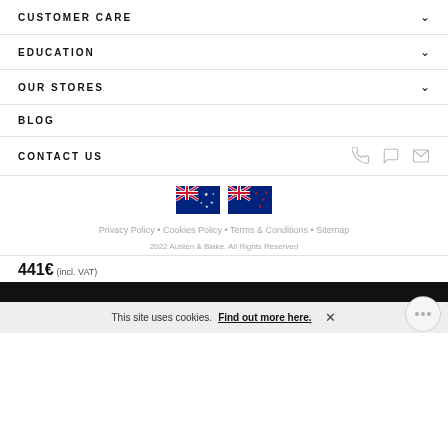CUSTOMER CARE
EDUCATION
OUR STORES
BLOG
CONTACT US
[Figure (illustration): Australian and New Zealand flags side by side]
Privacy Policy • Cookies Policy • Terms & Conditions • Sitemap
2022 Austen & Blake. All Rights Reserved
441€ (incl. VAT)
This site uses cookies. Find out more here.